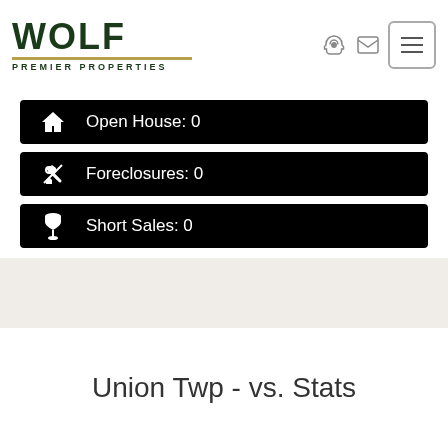WOLF PREMIER PROPERTIES
Open House: 0
Foreclosures: 0
Short Sales: 0
Union Twp - vs. Stats